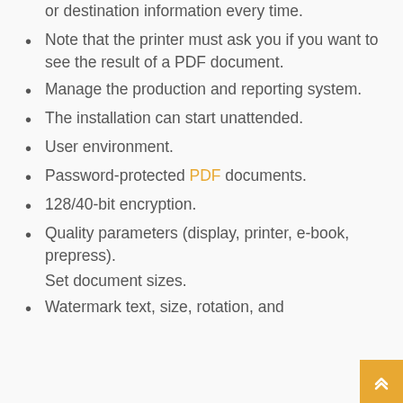or destination information every time.
Note that the printer must ask you if you want to see the result of a PDF document.
Manage the production and reporting system.
The installation can start unattended.
User environment.
Password-protected PDF documents.
128/40-bit encryption.
Quality parameters (display, printer, e-book, prepress).
Set document sizes.
Watermark text, size, rotation, and